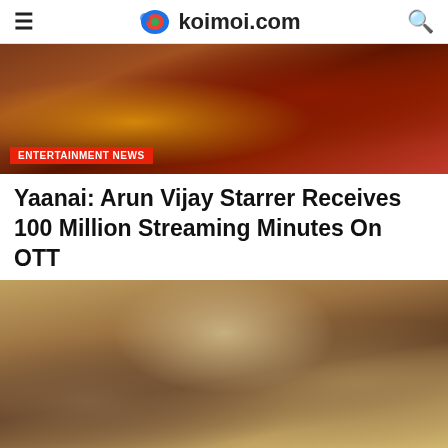koimoi.com
[Figure (photo): Hero image showing a person with red flowers, movie still from Yaanai, warm brown and red tones]
ENTERTAINMENT NEWS
Yaanai: Arun Vijay Starrer Receives 100 Million Streaming Minutes On OTT
[Figure (photo): Movie still showing a young man with long hair standing among wooden structures, warm golden tones]
ADVERTISEMENT
[Figure (screenshot): BitLife - Life Simulator advertisement banner with orange/yellow game graphic on left, red BitLife logo in center, and Install button on right]